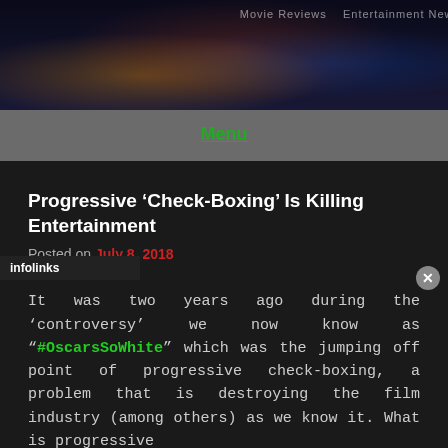[Figure (photo): Dark aerial/cityscape header image with colorful lights, navigation text visible at top right]
Menu
Progressive ‘Check-Boxing’ Is Killing Entertainment
Posted on July 8, 2018
It was two years ago during the ‘controversy’ we now know as “#OscarsSoWhite” which was the jumping off point of progressive check-boxing, a problem that is destroying the film industry (among others) as we know it. What is progressive